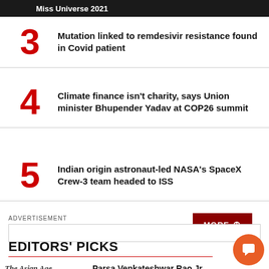Miss Universe 2021
3 Mutation linked to remdesivir resistance found in Covid patient
4 Climate finance isn't charity, says Union minister Bhupender Yadav at COP26 summit
5 Indian origin astronaut-led NASA's SpaceX Crew-3 team headed to ISS
MORE +
ADVERTISEMENT
EDITORS' PICKS
Parsa Venkateshwar Rao Jr Ambiguities remain amid India's pledges at COP26